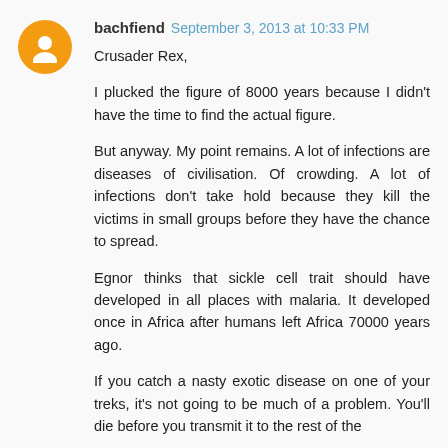bachfiend  September 3, 2013 at 10:33 PM
Crusader Rex,

I plucked the figure of 8000 years because I didn't have the time to find the actual figure.

But anyway. My point remains. A lot of infections are diseases of civilisation. Of crowding. A lot of infections don't take hold because they kill the victims in small groups before they have the chance to spread.

Egnor thinks that sickle cell trait should have developed in all places with malaria. It developed once in Africa after humans left Africa 70000 years ago.

If you catch a nasty exotic disease on one of your treks, it's not going to be much of a problem. You'll die before you transmit it to the rest of the